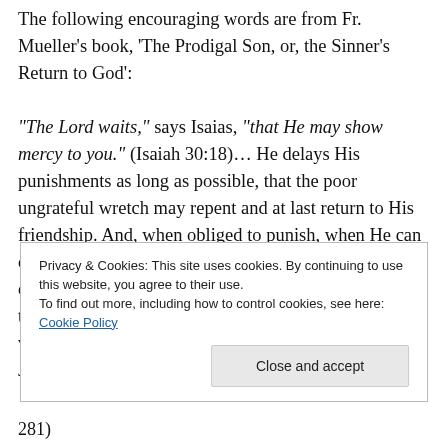The following encouraging words are from Fr. Mueller's book, 'The Prodigal Son, or, the Sinner's Return to God': "The Lord waits," says Isaias, "that He may show mercy to you." (Isaiah 30:18)… He delays His punishments as long as possible, that the poor ungrateful wretch may repent and at last return to His friendship. And, when obliged to punish, when He can delay no longer, He does it with such slowness that He discharges His anger little by little, to oblige the sinner to repent of his sins and to arrest the arm of His vengeance. God might have destroyed the city of Jericho in one instant, yet He spent seven days in
Privacy & Cookies: This site uses cookies. By continuing to use this website, you agree to their use. To find out more, including how to control cookies, see here: Cookie Policy
Close and accept
281)